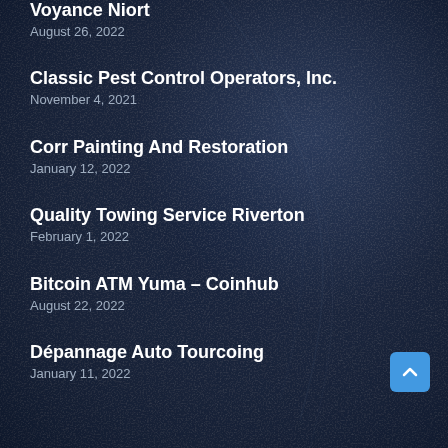Voyance Niort
August 26, 2022
Classic Pest Control Operators, Inc.
November 4, 2021
Corr Painting And Restoration
January 12, 2022
Quality Towing Service Riverton
February 1, 2022
Bitcoin ATM Yuma – Coinhub
August 22, 2022
Dépannage Auto Tourcoing
January 11, 2022